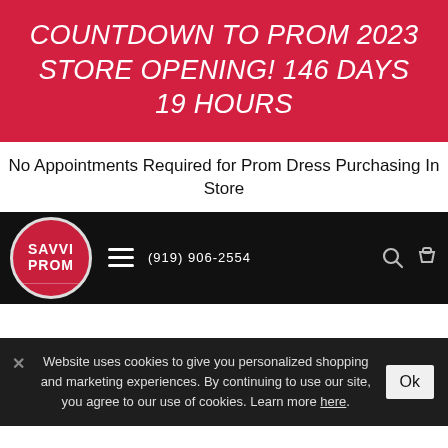COUNTDOWN TO PROM 2023 STORE OPENING! 146 DAYS 19 HOURS
No Appointments Required for Prom Dress Purchasing In Store
[Figure (screenshot): Savvi Prom website navigation bar with logo, hamburger menu, phone number (919) 906-2554, search icon, and cart icon on black background]
Website uses cookies to give you personalized shopping and marketing experiences. By continuing to use our site, you agree to our use of cookies. Learn more here.